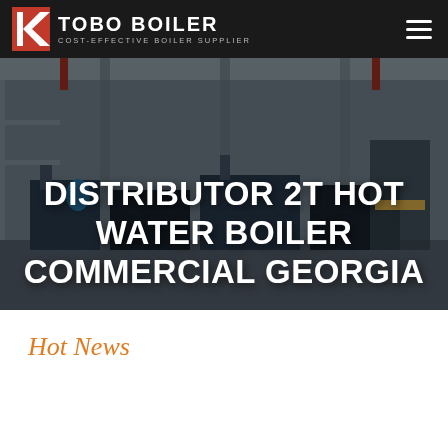TOBO BOILER — COST-EFFECTIVE BOILER SUPPLIER
[Figure (photo): Interior of a large industrial boiler manufacturing facility with overhead cranes, large boiler units on the factory floor, steel structures and equipment visible throughout.]
DISTRIBUTOR 2T HOT WATER BOILER COMMERCIAL GEORGIA
Hot News